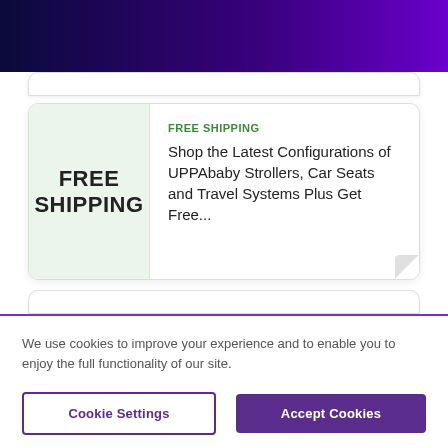Navigation header with hamburger menu
[Figure (screenshot): Website card with green left panel showing FREE SHIPPING text and white right panel with promotion details]
FREE SHIPPING
Shop the Latest Configurations of UPPAbaby Strollers, Car Seats and Travel Systems Plus Get Free...
We use cookies to improve your experience and to enable you to enjoy the full functionality of our site.
Cookie Settings
Accept Cookies